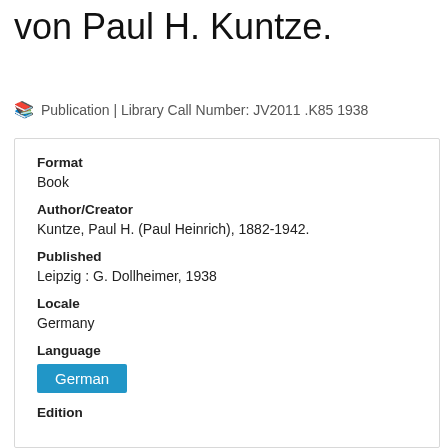von Paul H. Kuntze.
Publication | Library Call Number: JV2011 .K85 1938
Format
Book
Author/Creator
Kuntze, Paul H. (Paul Heinrich), 1882-1942.
Published
Leipzig : G. Dollheimer, 1938
Locale
Germany
Language
German
Edition